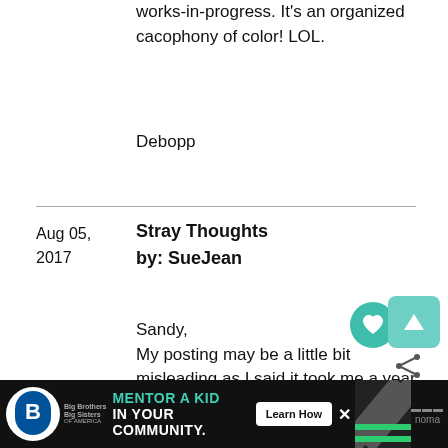works-in-progress. It's an organized cacophony of color! LOL.
Debopp
Aug 05, 2017
Stray Thoughts by: SueJean
Sandy,
My posting may be a little bit misleading as I said it took me a year to make this quilt. It d… …ut during that year I finished more
[Figure (screenshot): Advertisement banner: Big Brothers Big Sisters - Mentor a Kid in Your Community, Learn How button]